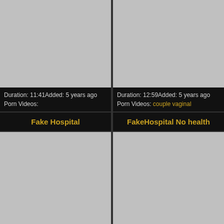[Figure (photo): Thumbnail image placeholder (grey rectangle), top-left video]
Duration: 11:41Added: 5 years ago
Porn Videos:
Fake Hospital
[Figure (photo): Thumbnail image placeholder (grey rectangle), bottom-left video]
[Figure (photo): Thumbnail image placeholder (grey rectangle), top-right video]
Duration: 12:59Added: 5 years ago
Porn Videos: couple vaginal
FakeHospital No health
[Figure (photo): Thumbnail image placeholder (grey rectangle), bottom-right video]